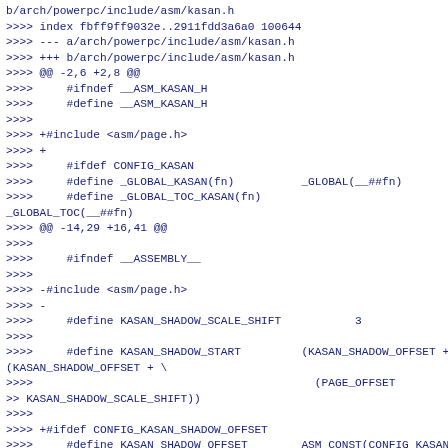b/arch/powerpc/include/asm/kasan.h
>>>> index fbff9ff9032e..2911fdd3a6a0 100644
>>>> --- a/arch/powerpc/include/asm/kasan.h
>>>> +++ b/arch/powerpc/include/asm/kasan.h
>>>> @@ -2,6 +2,8 @@
>>>>     #ifndef __ASM_KASAN_H
>>>>     #define __ASM_KASAN_H
>>>>
>>>> +#include <asm/page.h>
>>>> +
>>>>     #ifdef CONFIG_KASAN
>>>>     #define _GLOBAL_KASAN(fn)          _GLOBAL(__##fn)
>>>>     #define _GLOBAL_TOC_KASAN(fn)      _GLOBAL_TOC(__##fn)
>>>> @@ -14,29 +16,41 @@
>>>>
>>>>     #ifndef __ASSEMBLY__
>>>>
>>>> -#include <asm/page.h>
>>>> -
>>>>     #define KASAN_SHADOW_SCALE_SHIFT           3
>>>>
>>>>     #define KASAN_SHADOW_START         (KASAN_SHADOW_OFFSET + \
>>>>                                          (PAGE_OFFSET
>> KASAN_SHADOW_SCALE_SHIFT))
>>>>
>>>> +#ifdef CONFIG_KASAN_SHADOW_OFFSET
>>>>     #define KASAN_SHADOW_OFFSET        ASM_CONST(CONFIG_KASAN_SHADOW_OFFSET)